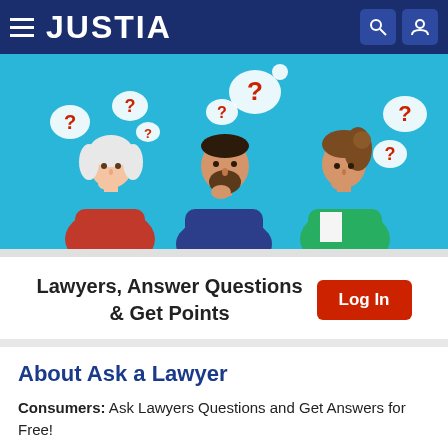JUSTIA
[Figure (illustration): Three people with question mark speech bubbles above them on a blue background — an older woman in red, a bearded man in blue, and a woman in green, all in a thinking pose.]
Lawyers, Answer Questions & Get Points  Log In
About Ask a Lawyer
Consumers: Ask Lawyers Questions and Get Answers for Free!
Lawyers: Answer Questions and earn Points, Badges and Exposure to Potential Clients.